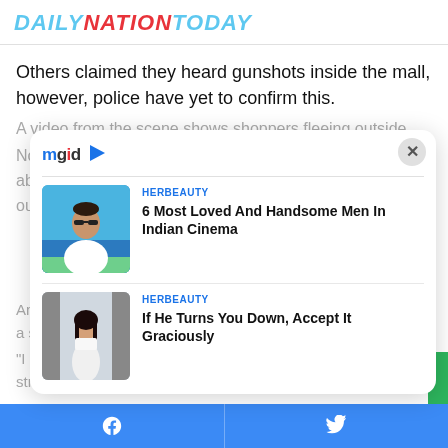DAILYNATIONTODAY
Others claimed they heard gunshots inside the mall, however, police have yet to confirm this.
A video from the scene shows shoppers fleeing outside
No... ...e ab... ...g ou...
[Figure (screenshot): mgid sponsored content widget with close button, two ad cards: (1) HERBEAUTY - 6 Most Loved And Handsome Men In Indian Cinema, with photo of man in white shirt; (2) HERBEAUTY - If He Turns You Down, Accept It Graciously, with photo of woman in white outfit]
Another video shows someone being carried out of the mall on a s...
"I s... str...
Facebook share | Twitter share